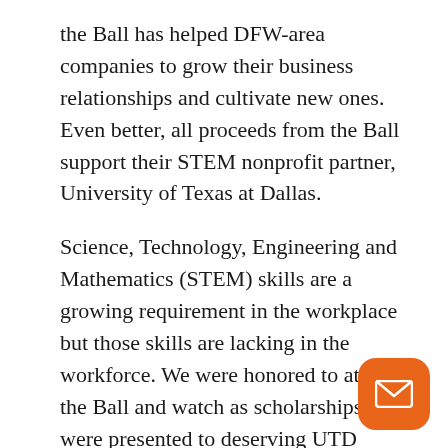the Ball has helped DFW-area companies to grow their business relationships and cultivate new ones. Even better, all proceeds from the Ball support their STEM nonprofit partner, University of Texas at Dallas.
Science, Technology, Engineering and Mathematics (STEM) skills are a growing requirement in the workplace but those skills are lacking in the workforce. We were honored to attend the Ball and watch as scholarships were presented to deserving UTD STEM students. Our participation in the Technology Ball demonstrates our commitment to a cause that is especially meaningful to us —techn education.
[Figure (illustration): Orange rounded square button with a white envelope/email icon]